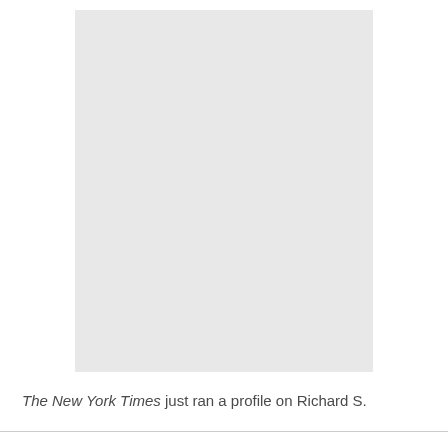[Figure (photo): A large light gray rectangular image placeholder occupying most of the upper portion of the page.]
The New York Times just ran a profile on Richard S.